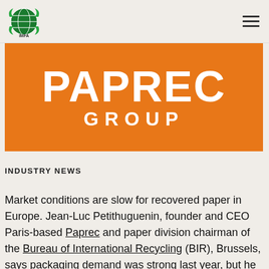IMFA logo and navigation menu
[Figure (logo): Paprec Group logo — white text PAPREC GROUP on orange background]
INDUSTRY NEWS
Market conditions are slow for recovered paper in Europe. Jean-Luc Petithuguenin, founder and CEO Paris-based Paprec and paper division chairman of the Bureau of International Recycling (BIR), Brussels, says packaging demand was strong last year, but he